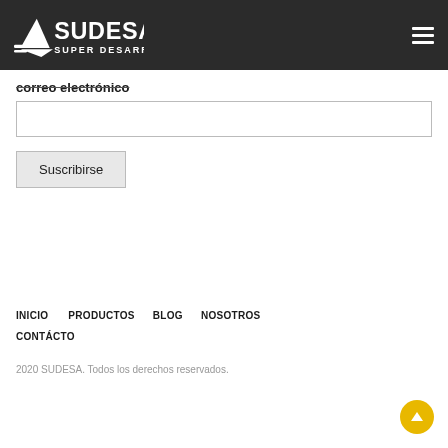[Figure (logo): SUDESA SUPER DESARROLLO S.A. white logo on dark background with hamburger menu icon]
correo electrónico
[Figure (screenshot): Email input text field, empty]
Suscribirse
INICIO   PRODUCTOS   BLOG   NOSOTROS   CONTÁCTO
2020 SUDESA. Todos los derechos reservados.